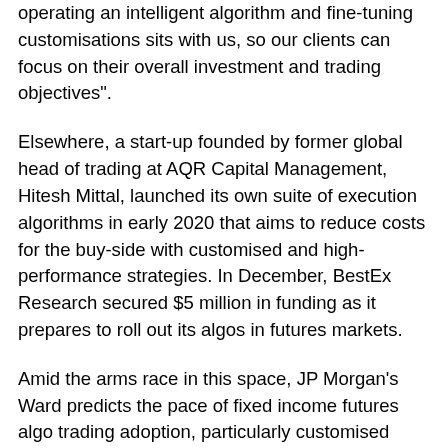operating an intelligent algorithm and fine-tuning customisations sits with us, so our clients can focus on their overall investment and trading objectives".
Elsewhere, a start-up founded by former global head of trading at AQR Capital Management, Hitesh Mittal, launched its own suite of execution algorithms in early 2020 that aims to reduce costs for the buy-side with customised and high-performance strategies. In December, BestEx Research secured $5 million in funding as it prepares to roll out its algos in futures markets.
Amid the arms race in this space, JP Morgan's Ward predicts the pace of fixed income futures algo trading adoption, particularly customised algos, will continue apace in 2021. It remains a significant focus at JP Morgan as different buy-side clients are also now using algorithms to trade futures.
In the next few years, the type of buy-side client...